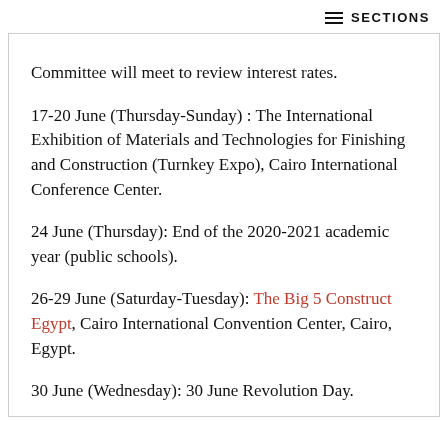SECTIONS
Committee will meet to review interest rates.
17-20 June (Thursday-Sunday) : The International Exhibition of Materials and Technologies for Finishing and Construction (Turnkey Expo), Cairo International Conference Center.
24 June (Thursday): End of the 2020-2021 academic year (public schools).
26-29 June (Saturday-Tuesday): The Big 5 Construct Egypt, Cairo International Convention Center, Cairo, Egypt.
30 June (Wednesday): 30 June Revolution Day.